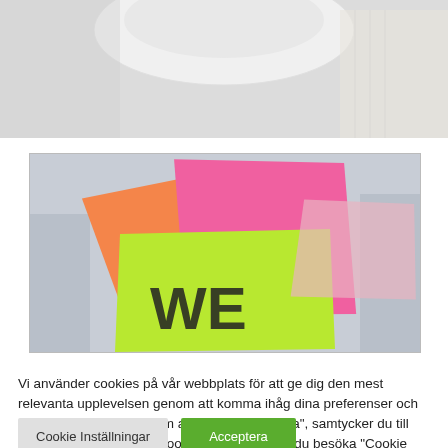[Figure (photo): Top portion of a webpage showing a white plate/cup on a light background, partially visible at top of page]
[Figure (photo): Colorful sticky notes (post-it notes) in orange, pink/magenta, and yellow-green colors, with bold letters partially visible, placed on a light gray surface]
Vi använder cookies på vår webbplats för att ge dig den mest relevanta upplevelsen genom att komma ihåg dina preferenser och upprepade besök. Genom att klicka "Acceptera", samtycker du till användningen av ALLA cookies. Däremot kan du besöka "Cookie Inställningar" för att lämna ett kontrollerat samtycke.
Cookie Inställningar
Acceptera